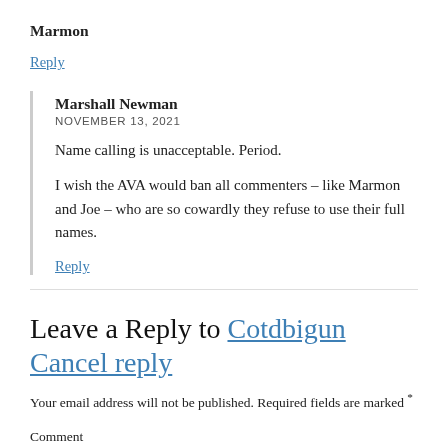Marmon
Reply
Marshall Newman
NOVEMBER 13, 2021
Name calling is unacceptable. Period.
I wish the AVA would ban all commenters – like Marmon and Joe – who are so cowardly they refuse to use their full names.
Reply
Leave a Reply to Cotdbigun Cancel reply
Your email address will not be published. Required fields are marked *
Comment